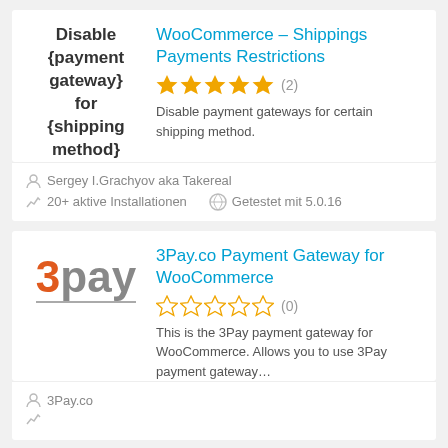[Figure (illustration): Plugin thumbnail showing bold text: Disable {payment gateway} for {shipping method}]
WooCommerce – Shippings Payments Restrictions
★★★★★ (2)
Disable payment gateways for certain shipping method.
Sergey I.Grachyov aka Takereal
20+ aktive Installationen   Getestet mit 5.0.16
[Figure (logo): 3pay logo in orange and gray]
3Pay.co Payment Gateway for WooCommerce
☆☆☆☆☆ (0)
This is the 3Pay payment gateway for WooCommerce. Allows you to use 3Pay payment gateway…
3Pay.co